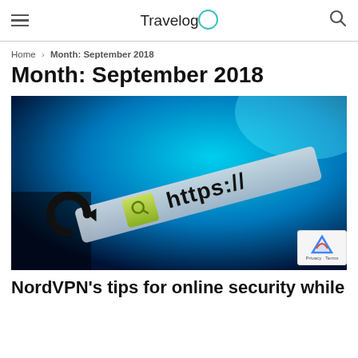Travelelog
Home > Month: September 2018
Month: September 2018
[Figure (photo): Close-up photo of a browser address bar showing 'https://' text on a blue-tinted background with a refresh icon and green search button visible]
NordVPN's tips for online security while